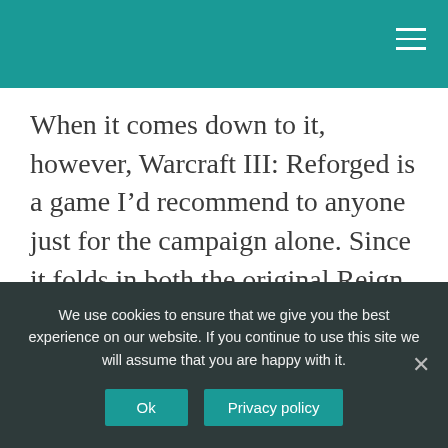When it comes down to it, however, Warcraft III: Reforged is a game I’d recommend to anyone just for the campaign alone. Since it folds in both the original Reign of Chaos release as well as the Frozen Throne expansion, there is hours’ worth of content for any fan of single-player strategy games.
How can I play Warcraft 3 now?
We use cookies to ensure that we give you the best experience on our website. If you continue to use this site we will assume that you are happy with it.